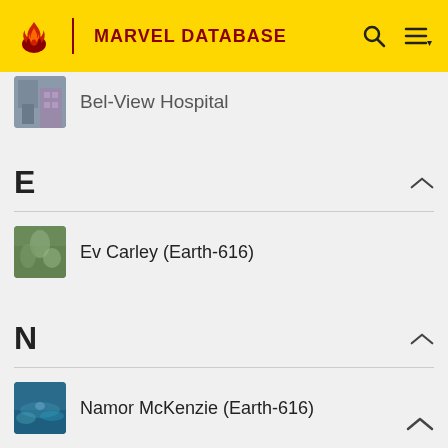MARVEL DATABASE
Bel-View Hospital
E
Ev Carley (Earth-616)
N
Namor McKenzie (Earth-616)